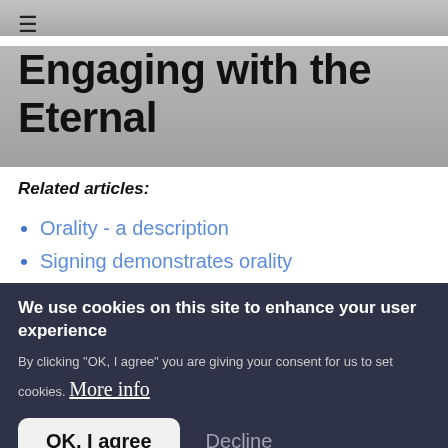≡
Engaging with the Eternal
Related articles:
Orality - a description
Signing demonstrates orality
We use cookies on this site to enhance your user experience
By clicking "OK, I agree" you are giving your consent for us to set cookies. More info
OK, I agree
Decline